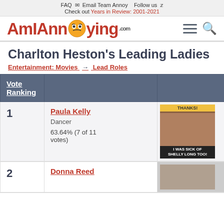FAQ  Email Team Annoy  Follow us
Check out Years in Review: 2001-2021
[Figure (logo): AmIAnnoying.com logo with hamburger menu and search icon]
Charlton Heston's Leading Ladies
Entertainment: Movies → Lead Roles
| Vote Ranking |  |  |
| --- | --- | --- |
| 1 | Paula Kelly
Dancer
63.64% (7 of 11 votes) | [image] |
| 2 | Donna Reed | [image] |